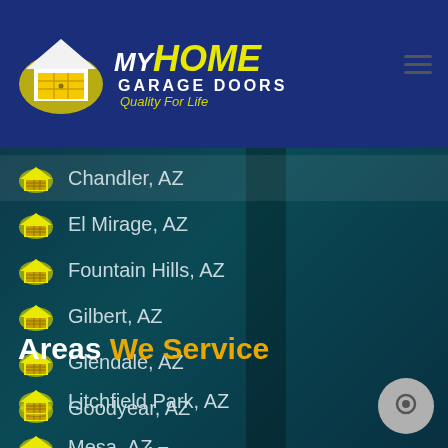[Figure (logo): My Home Garage Doors logo with house icon, yellow and white text on dark blue background, tagline 'Quality For Life']
Chandler, AZ
El Mirage, AZ
Fountain Hills, AZ
Gilbert, AZ
Glendale, AZ
Goodyear, AZ
Laveen, AZ
Areas We Service
Litchfield Park, AZ
Mesa, AZ
Paradise Valley, AZ